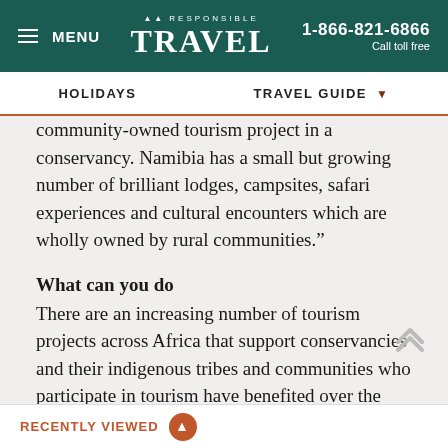MENU | RESPONSIBLE TRAVEL | 1-866-821-6866 Call toll free
HOLIDAYS | TRAVEL GUIDE
community-owned tourism project in a conservancy. Namibia has a small but growing number of brilliant lodges, campsites, safari experiences and cultural encounters which are wholly owned by rural communities.”
What can you do
There are an increasing number of tourism projects across Africa that support conservancies and their indigenous tribes and communities who participate in tourism have benefited over the years as they are able to support themselves and
RECENTLY VIEWED